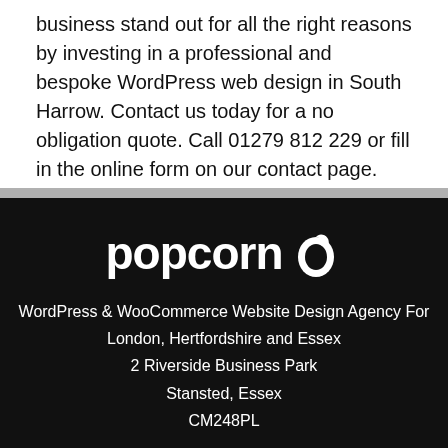business stand out for all the right reasons by investing in a professional and bespoke WordPress web design in South Harrow. Contact us today for a no obligation quote. Call 01279 812 229 or fill in the online form on our contact page.
[Figure (logo): Popcorn logo — the word 'popcorn' in white bold lowercase letters with a stylized teardrop/flame icon to the right, on a black background]
WordPress & WooCommerce Website Design Agency For London, Hertfordshire and Essex
2 Riverside Business Park
Stansted, Essex
CM248PL